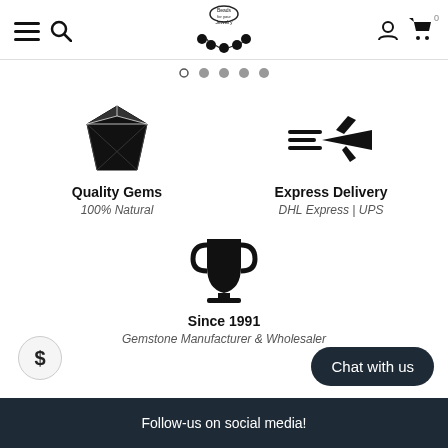[Figure (logo): Beads for your Jewelry logo with necklace graphic, navigation hamburger menu, search icon, user account icon, and shopping cart icon with badge showing 0]
[Figure (infographic): Carousel navigation dots, 5 dots with first one as an open circle (active) and rest filled gray]
[Figure (infographic): Diamond gem icon representing Quality Gems feature]
Quality Gems
100% Natural
[Figure (infographic): Airplane with speed lines icon representing Express Delivery feature]
Express Delivery
DHL Express | UPS
[Figure (infographic): Trophy cup icon representing establishment since 1991]
Since 1991
Gemstone Manufacturer & Wholesaler
Chat with us
Follow-us on social media!